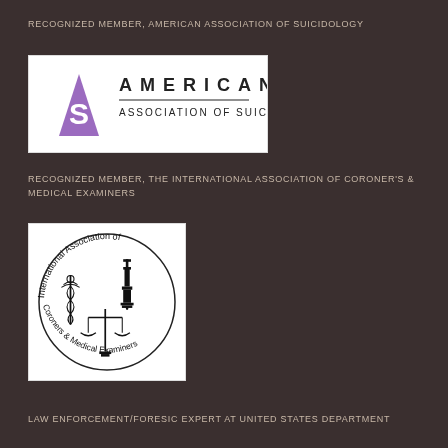RECOGNIZED MEMBER, AMERICAN ASSOCIATION OF SUICIDOLOGY
[Figure (logo): American Association of Suicidology logo with purple triangle and letter S, beside text AMERICAN ASSOCIATION OF SUICIDOLOGY]
RECOGNIZED MEMBER, THE INTERNATIONAL ASSOCIATION OF CORONER'S & MEDICAL EXAMINERS
[Figure (logo): International Association of Coroners & Medical Examiners circular logo with caduceus, microscope, and scales of justice]
LAW ENFORCEMENT/FORESIC EXPERT AT UNITED STATES DEPARTMENT